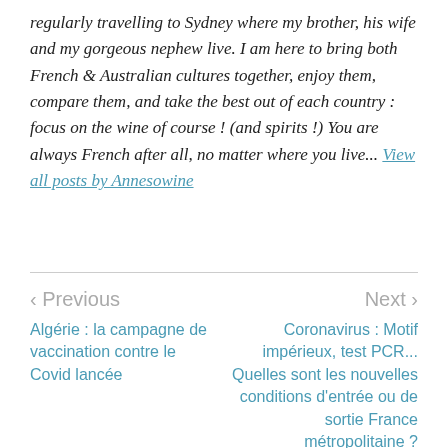regularly travelling to Sydney where my brother, his wife and my gorgeous nephew live. I am here to bring both French & Australian cultures together, enjoy them, compare them, and take the best out of each country : focus on the wine of course ! (and spirits !) You are always French after all, no matter where you live... View all posts by Annesowine
< Previous | Next >
Algérie : la campagne de vaccination contre le Covid lancée
Coronavirus : Motif impérieux, test PCR... Quelles sont les nouvelles conditions d'entrée ou de sortie France métropolitaine ?